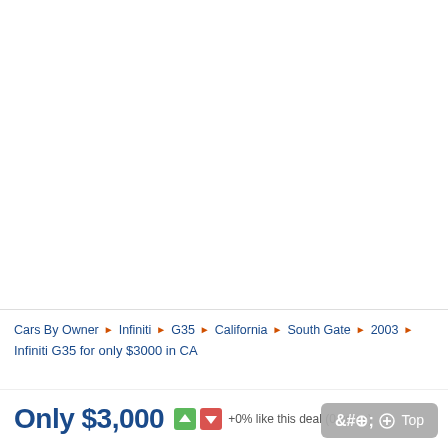Cars By Owner ▶ Infiniti ▶ G35 ▶ California ▶ South Gate ▶ 2003 ▶ Infiniti G35 for only $3000 in CA
Only $3,000  +0% like this deal (0 votes)